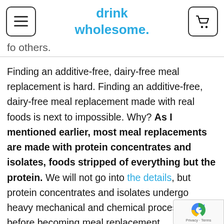drink wholesome.
fo others.
Finding an additive-free, dairy-free meal replacement is hard. Finding an additive-free, dairy-free meal replacement made with real foods is next to impossible. Why? As I mentioned earlier, most meal replacements are made with protein concentrates and isolates, foods stripped of everything but the protein. We will not go into the details, but protein concentrates and isolates undergo heavy mechanical and chemical processing before becoming meal replacement.